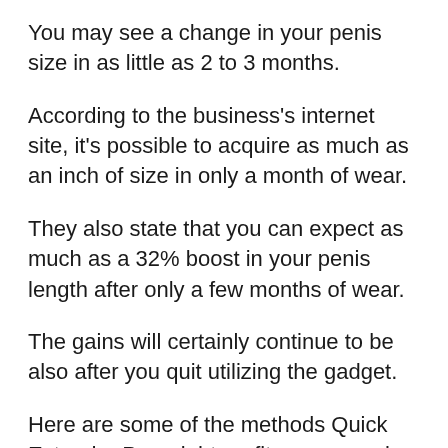You may see a change in your penis size in as little as 2 to 3 months.
According to the business's internet site, it's possible to acquire as much as an inch of size in only a month of wear.
They also state that you can expect as much as a 32% boost in your penis length after only a few months of wear.
The gains will certainly continue to be also after you quit utilizing the gadget.
Here are some of the methods Quick Extender Pro might profit your sexual health.
Raised erection size.